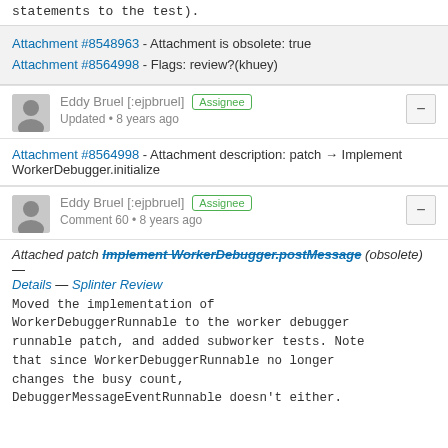statements to the test).
Attachment #8548963 - Attachment is obsolete: true
Attachment #8564998 - Flags: review?(khuey)
Eddy Bruel [:ejpbruel] Assignee
Updated • 8 years ago
Attachment #8564998 - Attachment description: patch → Implement WorkerDebugger.initialize
Eddy Bruel [:ejpbruel] Assignee
Comment 60 • 8 years ago
Attached patch Implement WorkerDebugger.postMessage (obsolete) — Details — Splinter Review
Moved the implementation of WorkerDebuggerRunnable to the worker debugger runnable patch, and added subworker tests. Note that since WorkerDebuggerRunnable no longer changes the busy count, DebuggerMessageEventRunnable doesn't either.